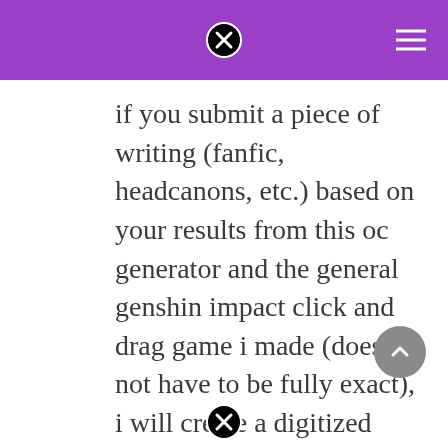if you submit a piece of writing (fanfic, headcanons, etc.) based on your results from this oc generator and the general genshin impact click and drag game i made (does not have to be fully exact), i will create a digitized drawing of your generated oc!